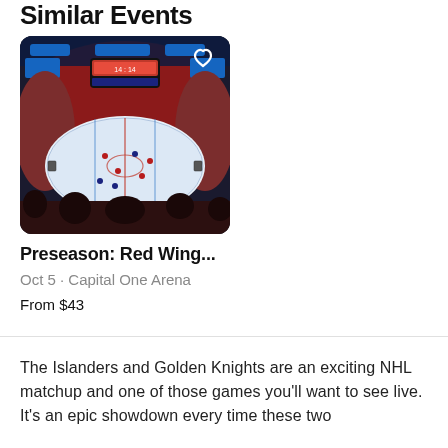Similar Events
[Figure (photo): Aerial view of a hockey arena filled with fans, showing the ice rink with players, large scoreboard overhead, viewed from the stands.]
Preseason: Red Wing...
Oct 5 · Capital One Arena
From $43
The Islanders and Golden Knights are an exciting NHL matchup and one of those games you'll want to see live. It's an epic showdown every time these two